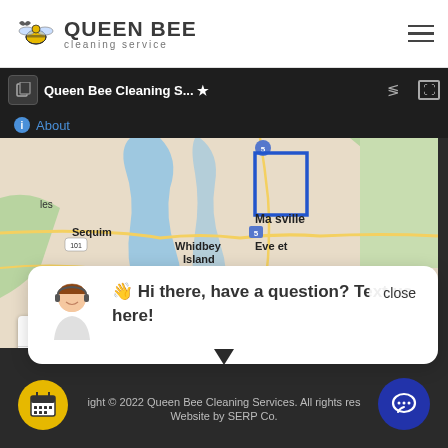[Figure (logo): Queen Bee Cleaning Service logo with bee icon and text]
[Figure (screenshot): Google Maps browser embed showing Queen Bee Cleaning Service area including Sequim, Whidbey Island, Marysville, Everett with blue service area highlight]
👋 Hi there, have a question? Text us here!
Copyright © 2022 Queen Bee Cleaning Services. All rights reserved. Website by SERP Co.